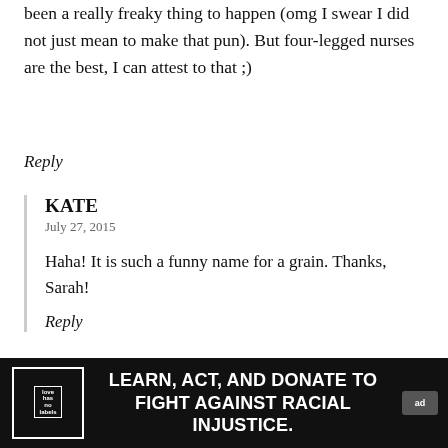been a really freaky thing to happen (omg I swear I did not just mean to make that pun). But four-legged nurses are the best, I can attest to that ;)
Reply
KATE
July 27, 2015
Haha! It is such a funny name for a grain. Thanks, Sarah!
Reply
KELLY STEINFELD NOT A FACE
July 23, …
[Figure (infographic): Advertisement banner: 'LEARN, ACT, AND DONATE TO FIGHT AGAINST RACIAL INJUSTICE.' with love has no labels logo and ad badge]